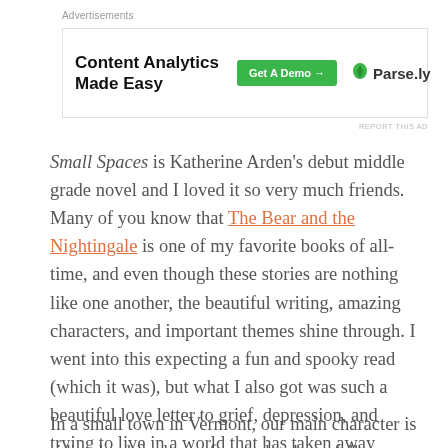Advertisements
[Figure (other): Advertisement banner for Parse.ly: 'Content Analytics Made Easy' with a green 'Get A Demo →' button and Parse.ly logo with leaf icon]
REPORT THIS AD
Small Spaces is Katherine Arden's debut middle grade novel and I loved it so very much friends. Many of you know that The Bear and the Nightingale is one of my favorite books of all-time, and even though these stories are nothing like one another, the beautiful writing, amazing characters, and important themes shine through. I went into this expecting a fun and spooky read (which it was), but what I also got was such a beautiful love letter to grief, depression, and trying to live in a world that has taken away someone who you feel you cannot live without.
In a small town in Vermont, our main character is riding her bike home from school one fall afternoon, when she